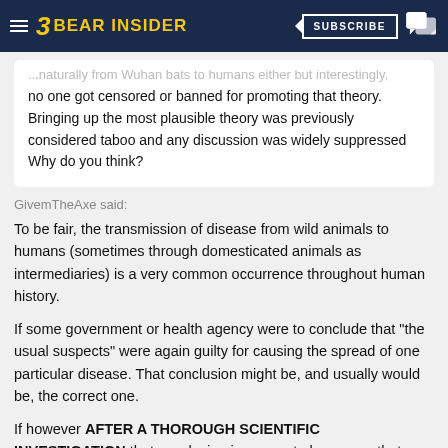BEAR INSIDER | SUBSCRIBE
...naturally from Wuhan bats to humans either but interestingly, no one got censored or banned for promoting that theory. Bringing up the most plausible theory was previously considered taboo and any discussion was widely suppressed Why do you think?
GivemTheAxe said:
To be fair, the transmission of disease from wild animals to humans (sometimes through domesticated animals as intermediaries) is a very common occurrence throughout human history.
If some government or health agency were to conclude that "the usual suspects" were again guilty for causing the spread of one particular disease. That conclusion might be, and usually would be, the correct one.
If however AFTER A THOROUGH SCIENTIFIC INVESTIGATION that conclusion is proven to be wrong, that error would not be proof of a gigantic coverup without more persuasive evidence of such a coverup. .